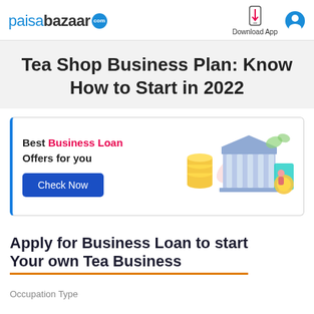paisabazaar.com | Download App
Tea Shop Business Plan: Know How to Start in 2022
[Figure (infographic): Business loan promotional banner with illustration of a bank building, coins, and a person. Contains text: 'Best Business Loan Offers for you' with a 'Check Now' button.]
Apply for Business Loan to start Your own Tea Business
Occupation Type